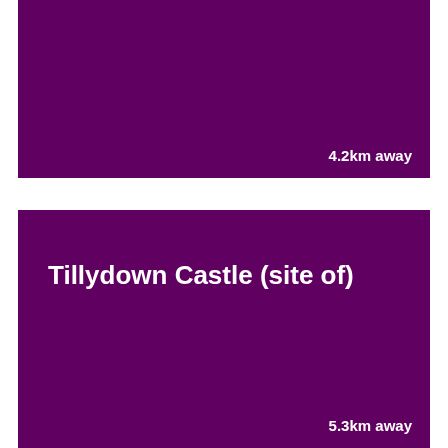[Figure (other): Dark purple card panel with distance label '4.2km away' in bottom right]
4.2km away
[Figure (other): Dark purple card panel with title 'Tillydown Castle (site of)' and distance label '5.3km away' in bottom right]
Tillydown Castle (site of)
5.3km away